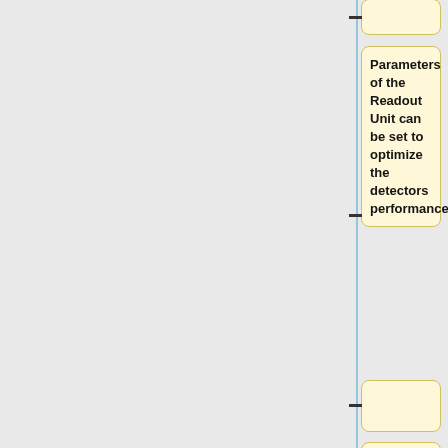[Figure (flowchart): Flowchart diagram showing sequential nodes connected by a vertical cyan line with horizontal dash connectors. Nodes contain text: a small empty connector box at top, then 'Parameters of the Readout Unit can be set to optimize the detectors performance.', another small connector box, then 'The modulation frequency of the AC bias system, fmod of the square bias current', then 'can be tuned from 70 Hz to 112 Hz by the telecommand parameters:', and a partial box at the bottom.]